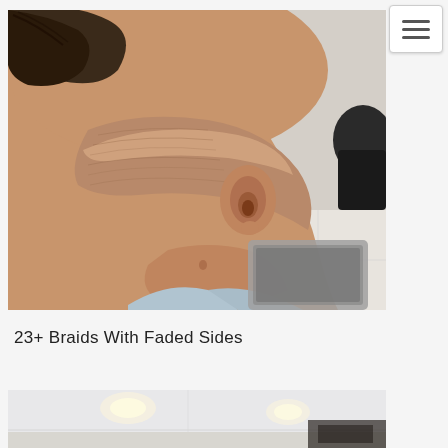[Figure (photo): Close-up photo of the back/side of a person's head showing a fresh fade haircut with shaved sides and braids tied up, taken in a salon setting]
23+ Braids With Faded Sides
[Figure (photo): Bottom portion of a second photo showing a salon interior with ceiling lights]